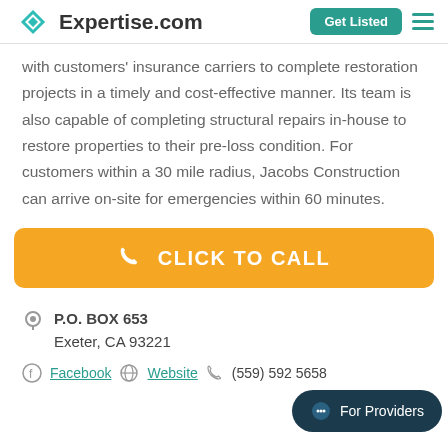Expertise.com | Get Listed
with customers' insurance carriers to complete restoration projects in a timely and cost-effective manner. Its team is also capable of completing structural repairs in-house to restore properties to their pre-loss condition. For customers within a 30 mile radius, Jacobs Construction can arrive on-site for emergencies within 60 minutes.
[Figure (other): Orange 'CLICK TO CALL' button with phone icon]
P.O. BOX 653
Exeter, CA 93221
Facebook   Website   (559) 592 5658